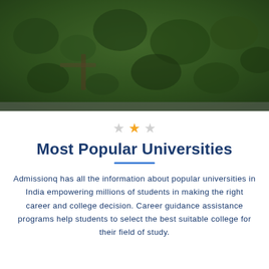[Figure (photo): Aerial view of a green university campus with trees and pathways, blurred background]
Most Popular Universities
Admissionq has all the information about popular universities in India empowering millions of students in making the right career and college decision. Career guidance assistance programs help students to select the best suitable college for their field of study.